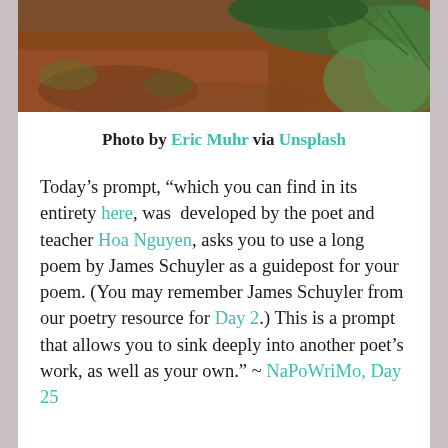[Figure (photo): Forest floor photo showing reddish-brown earth, green ferns and mossy plants, taken from above. Photo credit to Eric Muhr via Unsplash.]
Photo by Eric Muhr via Unsplash
Today’s prompt, “which you can find in its entirety here, was developed by the poet and teacher Hoa Nguyen, asks you to use a long poem by James Schuyler as a guidepost for your poem. (You may remember James Schuyler from our poetry resource for Day 2.) This is a prompt that allows you to sink deeply into another poet’s work, as well as your own.” ~ NaPoWriMo, Day 25